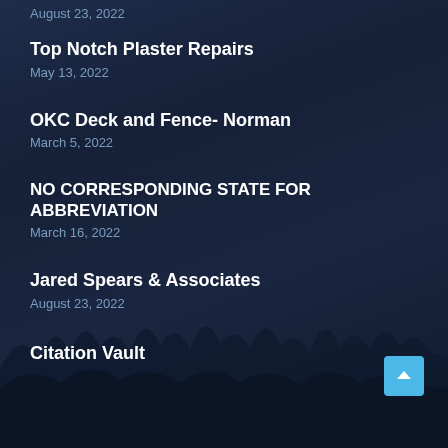August 23, 2022
Top Notch Plaster Repairs
May 13, 2022
OKC Deck and Fence- Norman
March 5, 2022
NO CORRESPONDING STATE FOR ABBREVIATION
March 16, 2022
Jared Spears & Associates
August 23, 2022
Citation Vault